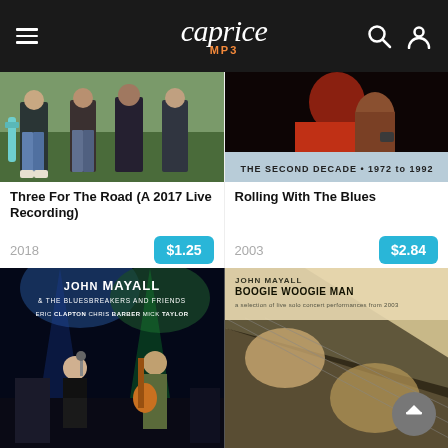caprice MP3
[Figure (photo): Band photo showing four people standing outdoors on grass with guitars - album art for Three For The Road]
[Figure (photo): Album cover for Rolling With The Blues - The Second Decade 1972 to 1992, showing a close-up of a person in a red outfit]
Three For The Road (A 2017 Live Recording)
2018
$1.25
Rolling With The Blues
2003
$2.84
[Figure (photo): Concert photo for John Mayall & The Bluesbreakers and Friends featuring Eric Clapton, Chris Barber, Mick Taylor]
[Figure (photo): Album cover for John Mayall Boogie Woogie Man - a collection of live solo concert performances from 2003, showing hands on guitar]